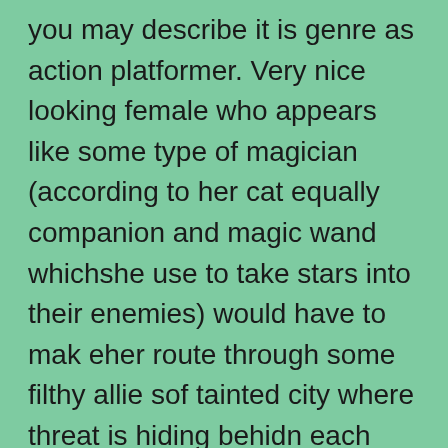you may describe it is genre as action platformer. Very nice looking female who appears like some type of magician (according to her cat equally companion and magic wand whichshe use to take stars into their enemies) would have to mak eher route through some filthy allie sof tainted city where threat is hiding behidn each corner. If she won't eliminate the danger in time it may cost her some of her clothing at first... but who knows what's going to happen with her when there will be no clotehs left! Game has really nice picture style but all the texts here are in japanese so you might have some troubles with knowing the